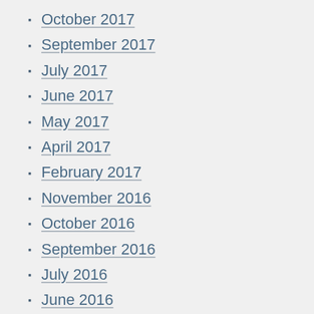October 2017
September 2017
July 2017
June 2017
May 2017
April 2017
February 2017
November 2016
October 2016
September 2016
July 2016
June 2016
May 2016
March 2016
January 2016